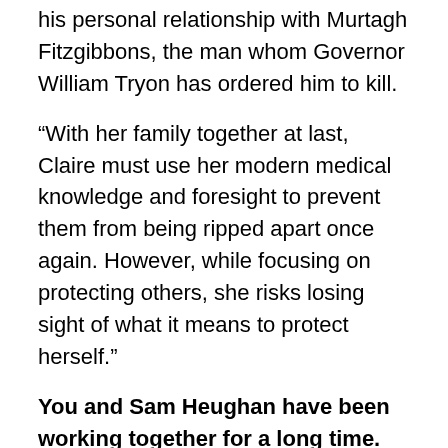his personal relationship with Murtagh Fitzgibbons, the man whom Governor William Tryon has ordered him to kill.
“With her family together at last, Claire must use her modern medical knowledge and foresight to prevent them from being ripped apart once again. However, while focusing on protecting others, she risks losing sight of what it means to protect herself.”
You and Sam Heughan have been working together for a long time. You’re good friends, but do you annoy each other sometimes?
You’re stirring the pot (laughs). Very rarely do we ever even get annoyed with each other, which is quite astounding considering that we do work so closely together. His time keeping can sometimes irk me when I’m